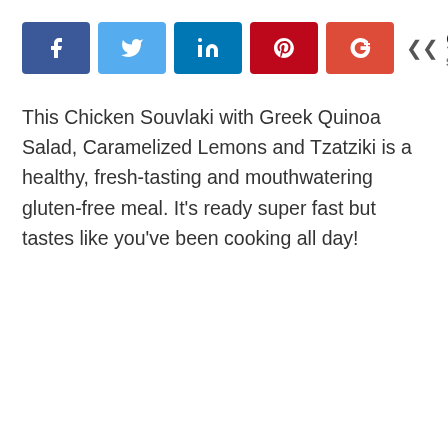[Figure (other): Social sharing bar with Facebook, Twitter, LinkedIn, Pinterest, Google+ buttons and a share count of 9]
This Chicken Souvlaki with Greek Quinoa Salad, Caramelized Lemons and Tzatziki is a healthy, fresh-tasting and mouthwatering gluten-free meal. It’s ready super fast but tastes like you’ve been cooking all day!